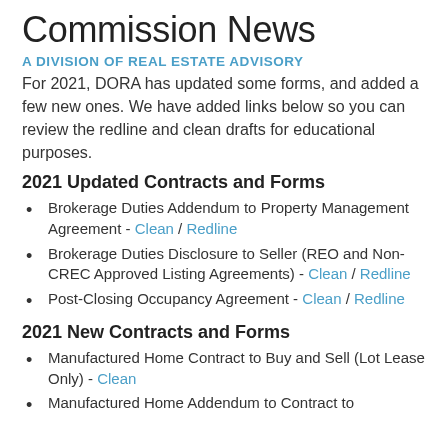Commission News
A DIVISION OF REAL ESTATE ADVISORY
For 2021, DORA has updated some forms, and added a few new ones. We have added links below so you can review the redline and clean drafts for educational purposes.
2021 Updated Contracts and Forms
Brokerage Duties Addendum to Property Management Agreement - Clean / Redline
Brokerage Duties Disclosure to Seller (REO and Non-CREC Approved Listing Agreements) - Clean / Redline
Post-Closing Occupancy Agreement - Clean / Redline
2021 New Contracts and Forms
Manufactured Home Contract to Buy and Sell (Lot Lease Only) - Clean
Manufactured Home Addendum to Contract to